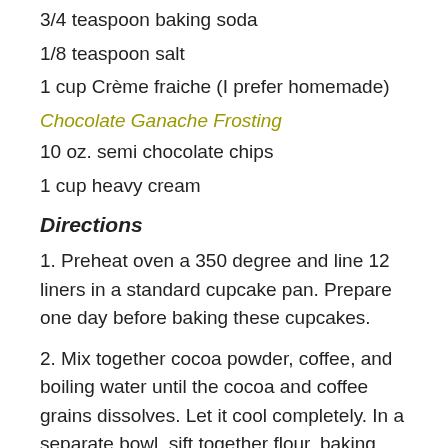3/4 teaspoon baking soda
1/8 teaspoon salt
1 cup Crème fraiche (I prefer homemade)
Chocolate Ganache Frosting
10 oz. semi chocolate chips
1 cup heavy cream
Directions
1.  Preheat oven a 350 degree and line 12 liners in a standard cupcake pan. Prepare one day before baking these cupcakes.
2.  Mix together cocoa powder, coffee, and boiling water until the cocoa and coffee grains dissolves.  Let it cool completely.  In a separate bowl, sift together flour, baking soda and salt. Set aside.